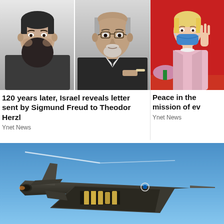[Figure (photo): Black and white portrait photos of Theodor Herzl (left) and Sigmund Freud (right) side by side]
120 years later, Israel reveals letter sent by Sigmund Freud to Theodor Herzl
Ynet News
[Figure (photo): Woman in pink suit wearing blue surgical mask, waving, against red background]
Peace in the mission of ev
Ynet News
[Figure (photo): Israeli F-35 stealth fighter jet with weapon bay open, flying against blue sky with contrail]